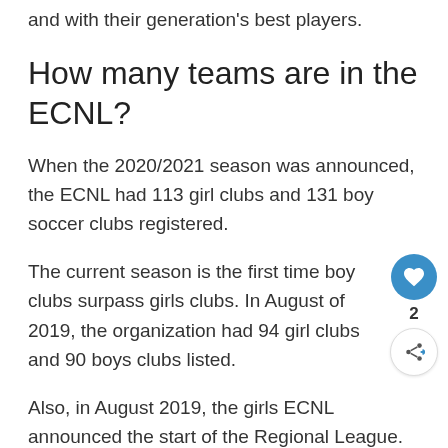and with their generation's best players.
How many teams are in the ECNL?
When the 2020/2021 season was announced, the ECNL had 113 girl clubs and 131 boy soccer clubs registered.
The current season is the first time boy clubs surpass girls clubs. In August of 2019, the organization had 94 girl clubs and 90 boys clubs listed.
Also, in August 2019, the girls ECNL announced the start of the Regional League. The boys Regional League was announced that...